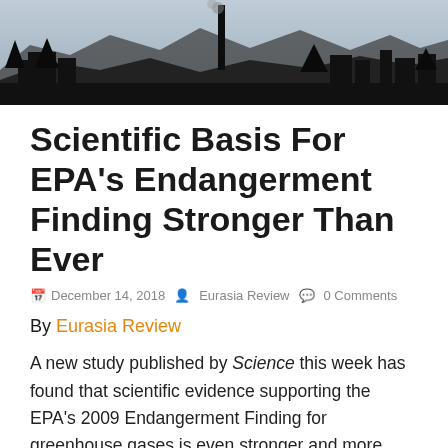[Figure (photo): Black and white silhouette photo of industrial smokestacks and buildings against a mountainous background with cloudy sky]
Scientific Basis For EPA's Endangerment Finding Stronger Than Ever
December 14, 2018  Eurasia Review  0 Comments
By Eurasia Review
A new study published by Science this week has found that scientific evidence supporting the EPA's 2009 Endangerment Finding for greenhouse gases is even stronger and more conclusive now. This finding could strengthen challenges to proposed efforts to rollback emissions standards and carbon emissions regulations in the United States.